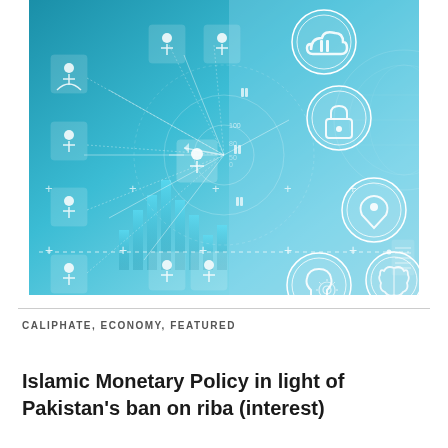[Figure (illustration): Digital network and technology concept illustration with teal/blue background showing interconnected human silhouette icons, network data radar/chart graphic, and circular icons for cloud, lock/security, location pin, lightbulb/idea, brain, and other digital technology symbols with glowing lines and bar chart elements.]
CALIPHATE, ECONOMY, FEATURED
Islamic Monetary Policy in light of Pakistan's ban on riba (interest)